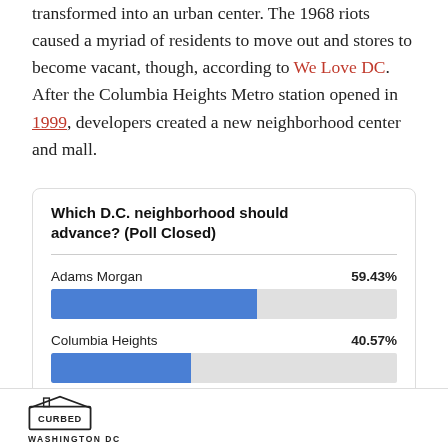transformed into an urban center. The 1968 riots caused a myriad of residents to move out and stores to become vacant, though, according to We Love DC. After the Columbia Heights Metro station opened in 1999, developers created a new neighborhood center and mall.
[Figure (bar-chart): Which D.C. neighborhood should advance? (Poll Closed)]
CURBED WASHINGTON DC